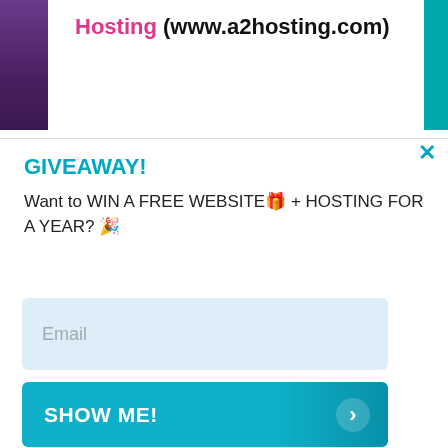Hosting (www.a2hosting.com)
GIVEAWAY!
Want to WIN A FREE WEBSITE🎁 + HOSTING FOR A YEAR? 🎉